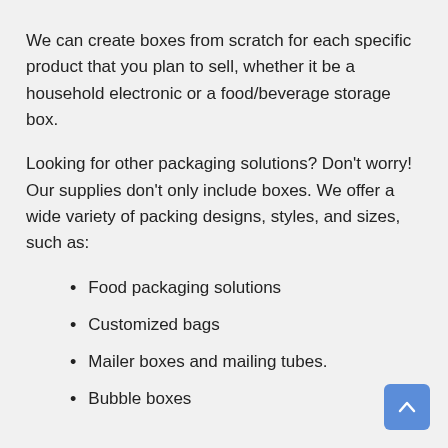We can create boxes from scratch for each specific product that you plan to sell, whether it be a household electronic or a food/beverage storage box.
Looking for other packaging solutions? Don’t worry! Our supplies don’t only include boxes. We offer a wide variety of packing designs, styles, and sizes, such as:
Food packaging solutions
Customized bags
Mailer boxes and mailing tubes.
Bubble boxes